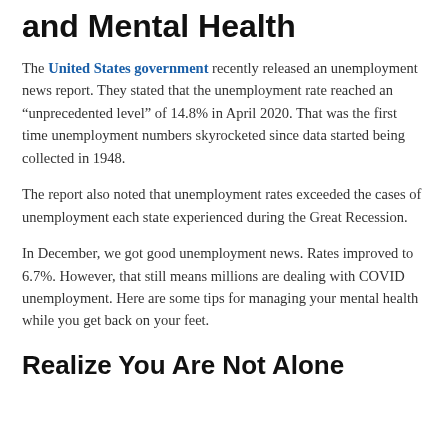and Mental Health
The United States government recently released an unemployment news report. They stated that the unemployment rate reached an “unprecedented level” of 14.8% in April 2020. That was the first time unemployment numbers skyrocketed since data started being collected in 1948.
The report also noted that unemployment rates exceeded the cases of unemployment each state experienced during the Great Recession.
In December, we got good unemployment news. Rates improved to 6.7%. However, that still means millions are dealing with COVID unemployment. Here are some tips for managing your mental health while you get back on your feet.
Realize You Are Not Alone